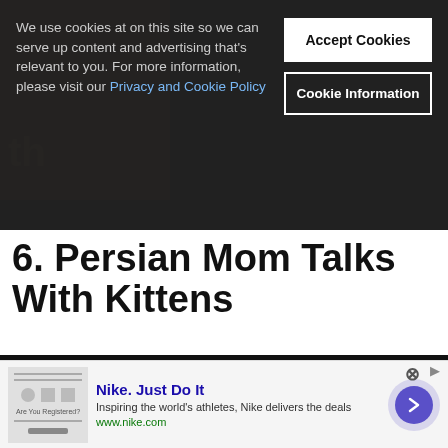We use cookies at on this site so we can serve up content and advertising that's relevant to you. For more information, please visit our Privacy and Cookie Policy
Accept Cookies
Cookie Information
6. Persian Mom Talks With Kittens
[Figure (screenshot): YouTube embed showing 'Tiger Cat Mom Talking to Her Kittens' with channel avatar and three-dot menu icon, video thumbnail showing light beige/tan background]
[Figure (infographic): Nike advertisement banner: 'Nike. Just Do It' with tagline 'Inspiring the world's athletes, Nike delivers the deals', URL www.nike.com, with arrow button and close button]